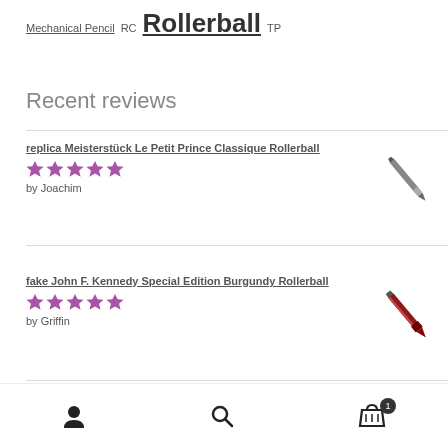Mechanical Pencil RC Rollerball TP
Recent reviews
replica Meisterstück Le Petit Prince Classique Rollerball
★★★★★
by Joachim
fake John F. Kennedy Special Edition Burgundy Rollerball
★★★★★
by Griffin
replica designer Meisterstück Rose Gold-Coated LeGrand
User | Search | Cart (1)